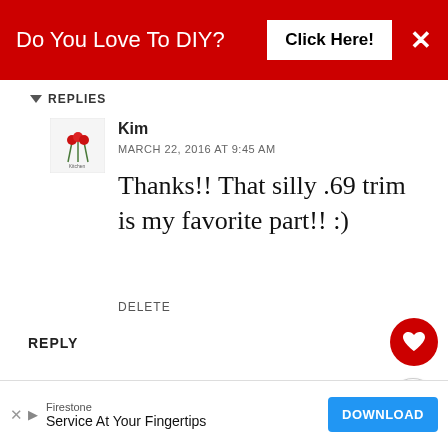Do You Love To DIY? Click Here!
REPLIES
Kim
MARCH 22, 2016 AT 9:45 AM
Thanks!! That silly .69 trim is my favorite part!! :)
DELETE
REPLY
Melanie
MARCH 18, 2016 AT 5:56 PM
What a beautiful gift from your
WHAT'S NEXT → Decorating For Fall: The...
Firestone Service At Your Fingertips DOWNLOAD